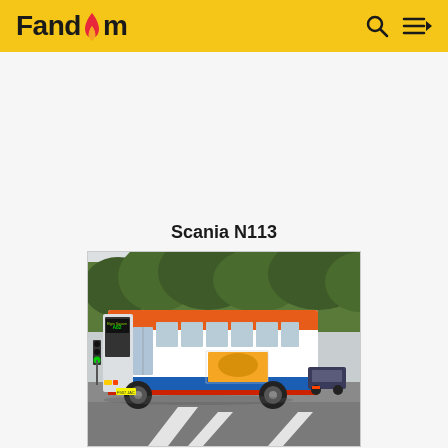Fandom
Scania N113
[Figure (photo): A Scania N113 single-decker bus in Stagecoach livery (white with red, orange and blue stripes) showing route 482, photographed on a wet road with trees in the background and a traffic light visible on the left.]